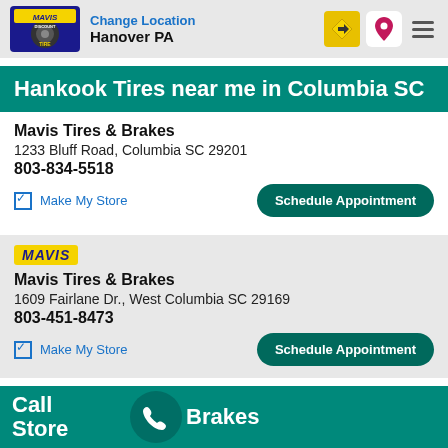Change Location Hanover PA
Hankook Tires near me in Columbia SC
Mavis Tires & Brakes
1233 Bluff Road, Columbia SC 29201
803-834-5518
Make My Store | Schedule Appointment
Mavis Tires & Brakes
1609 Fairlane Dr., West Columbia SC 29169
803-451-8473
Make My Store | Schedule Appointment
Call Store Brakes